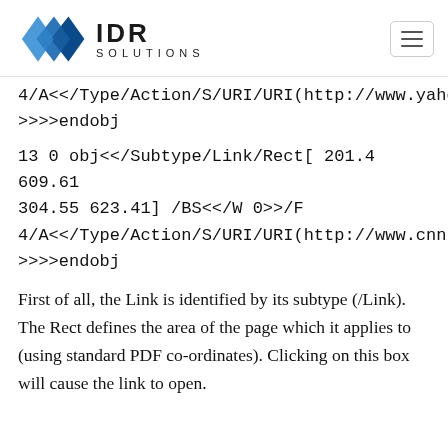IDR SOLUTIONS
4/A<</Type/Action/S/URI/URI(http://www.yahoo.co
>>>>endobj
13 0 obj<</Subtype/Link/Rect[ 201.4 609.61 304.55 623.41] /BS<</W 0>>/F 4/A<</Type/Action/S/URI/URI(http://www.cnn.com/
>>>>endobj
First of all, the Link is identified by its subtype (/Link). The Rect defines the area of the page which it applies to (using standard PDF co-ordinates). Clicking on this box will cause the link to open.